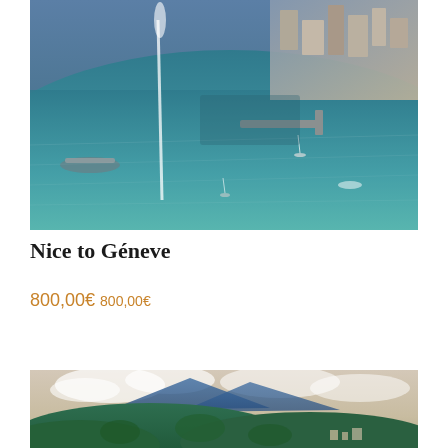[Figure (photo): Aerial view of Geneva lake with a prominent water fountain jet (Jet d'Eau), blue-green water, sailboats, and the city harbor with buildings along the shoreline.]
Nice to Géneve
800,00€ 800,00€
[Figure (photo): Aerial landscape photo showing lush green hills and mountains under a dramatic cloudy sky, with a town visible in the lower right area.]